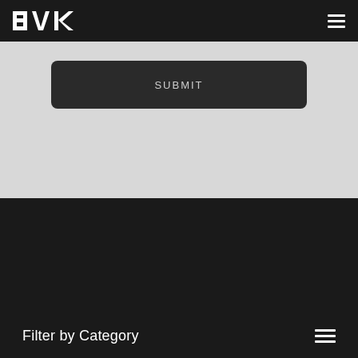BVK
[Figure (screenshot): Submit button on a dark rounded rectangle background within a light gray section]
More from The Current
Filter by Category